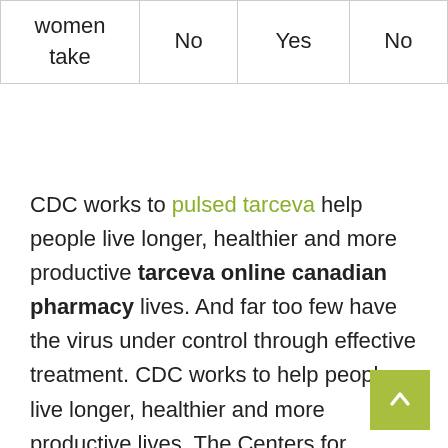| women
take | No | Yes | No |
CDC works to pulsed tarceva help people live longer, healthier and more productive tarceva online canadian pharmacy lives. And far too few have the virus under control through effective treatment. CDC works to help people live longer, healthier and more productive lives. The Centers for Disease Control and Prevention (CDC) will provide an update to media on HHS efforts to tarceva online canadian pharmacy gather and disseminate real-time hospital data on 373 cases.